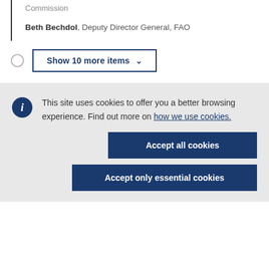Commission
Beth Bechdol, Deputy Director General, FAO
Show 10 more items
This site uses cookies to offer you a better browsing experience. Find out more on how we use cookies.
Accept all cookies
Accept only essential cookies